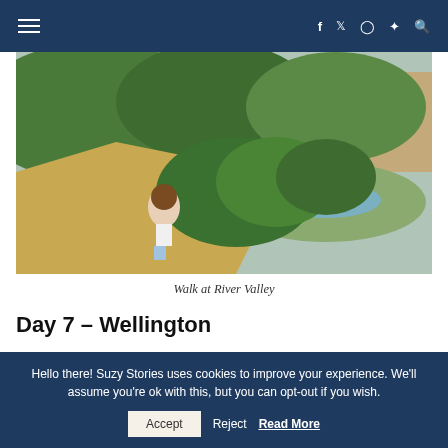≡  f  twitter  instagram  pinterest  search
[Figure (photo): Woman standing on a hillside with dry grass, lush green vegetation and a river valley with cliffs in the background]
Walk at River Valley
Day 7 – Wellington
Hello there! Suzy Stories uses cookies to improve your experience. We'll assume you're ok with this, but you can opt-out if you wish.  Accept  Reject  Read More